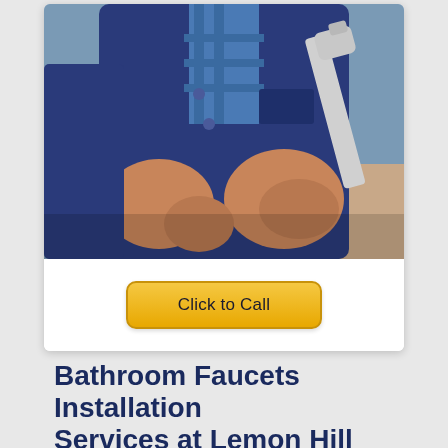[Figure (photo): A plumber in a dark navy blue uniform/jacket, arms crossed, holding a large silver wrench. The person's face is cropped out. Background is light blue-grey.]
Click to Call
Bathroom Faucets Installation Services at Lemon Hill